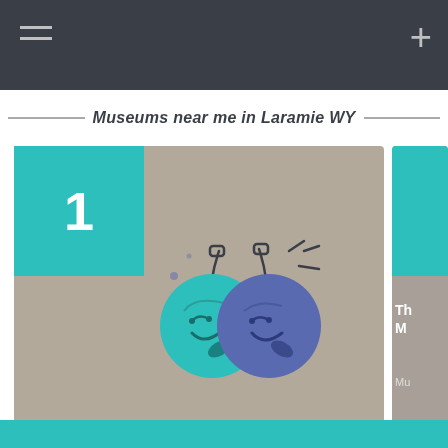Museums near me in Laramie WY
[Figure (screenshot): Card showing result #1: Gunnedah Rural Museum with illustration of two decorative baubles/ornaments and 5-star rating (1 review). Category: Museums.]
[Figure (screenshot): Partially visible second card showing another museum result, cropped at right edge.]